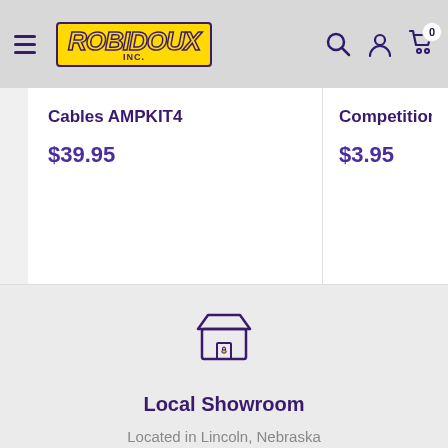Robidoux Inc. – navigation header with logo, search, account, and cart icons
Cables AMPKIT4
$39.95
Competition Rated
$3.95
[Figure (illustration): Store/shopfront icon in purple outline style]
Local Showroom
Located in Lincoln, Nebraska
ABOUT US